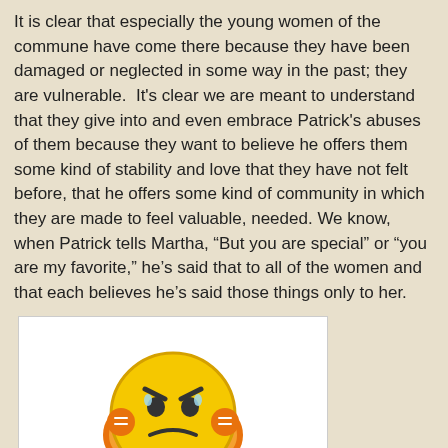It is clear that especially the young women of the commune have come there because they have been damaged or neglected in some way in the past; they are vulnerable.  It's clear we are meant to understand that they give into and even embrace Patrick's abuses of them because they want to believe he offers them some kind of stability and love that they have not felt before, that he offers some kind of community in which they are made to feel valuable, needed. We know, when Patrick tells Martha, “But you are special” or “you are my favorite,” he’s said that to all of the women and that each believes he’s said those things only to her.
[Figure (illustration): Tinypic placeholder image showing a cartoon angry/frustrated yellow smiley face with hands on cheeks, with the Tinypic logo below and text reading 'This image is no longer available. Visit tinypic.com for more information.']